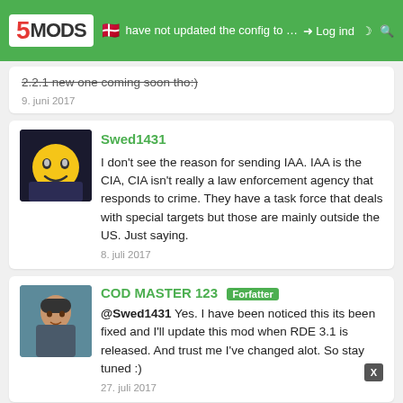5MODS — Log ind — COD MASTER 123 Forfatter
have not updated the config to 3.0.4 gordon yes still 2.2.1 new one coming soon tho:)
9. juni 2017
Swed1431
I don't see the reason for sending IAA. IAA is the CIA, CIA isn't really a law enforcement agency that responds to crime. They have a task force that deals with special targets but those are mainly outside the US. Just saying.
8. juli 2017
COD MASTER 123 [Forfatter]
@Swed1431 Yes. I have been noticed this its been fixed and I'll update this mod when RDE 3.1 is released. And trust me I've changed alot. So stay tuned :)
27. juli 2017